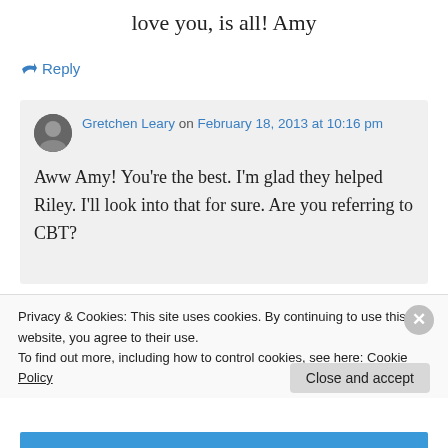love you, is all! Amy
↪ Reply
Gretchen Leary on February 18, 2013 at 10:16 pm
Aww Amy! You're the best. I'm glad they helped Riley. I'll look into that for sure. Are you referring to CBT?
Privacy & Cookies: This site uses cookies. By continuing to use this website, you agree to their use.
To find out more, including how to control cookies, see here: Cookie Policy
Close and accept